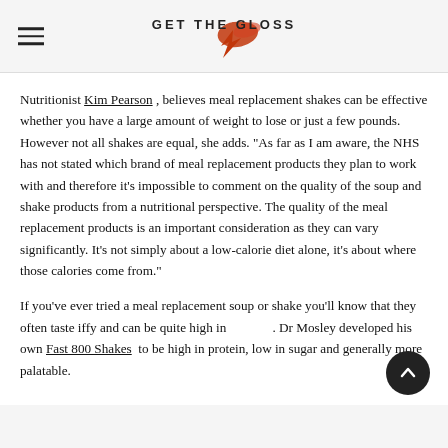GET THE GLOSS
Nutritionist Kim Pearson , believes meal replacement shakes can be effective whether you have a large amount of weight to lose or just a few pounds. However not all shakes are equal, she adds. "As far as I am aware, the NHS has not stated which brand of meal replacement products they plan to work with and therefore it’s impossible to comment on the quality of the soup and shake products from a nutritional perspective. The quality of the meal replacement products is an important consideration as they can vary significantly. It’s not simply about a low-calorie diet alone, it’s about where those calories come from."
If you’ve ever tried a meal replacement soup or shake you’ll know that they often taste iffy and can be quite high in sugar. Dr Mosley developed his own Fast 800 Shakes  to be high in protein, low in sugar and generally more palatable.